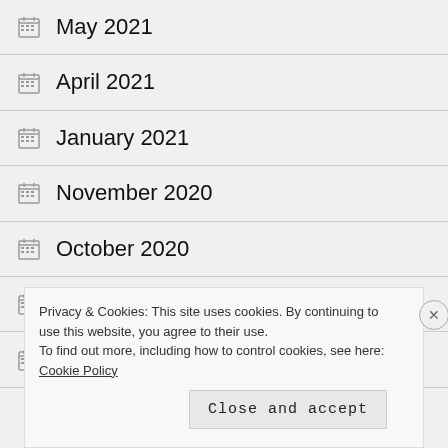May 2021
April 2021
January 2021
November 2020
October 2020
March 2018
January 2018
Privacy & Cookies: This site uses cookies. By continuing to use this website, you agree to their use.
To find out more, including how to control cookies, see here: Cookie Policy
Close and accept